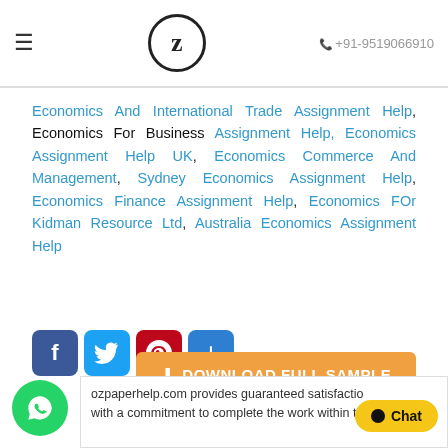≡  Z  +91-9519066910
Economics And International Trade Assignment Help, Economics For Business Assignment Help, Economics Assignment Help UK, Economics Commerce And Management, Sydney Economics Assignment Help, Economics Finance Assignment Help, Economics FOr Kidman Resource Ltd, Australia Economics Assignment Help
[Figure (infographic): Social share buttons: Facebook (blue), Twitter (light blue), Pinterest (red), Share/Plus (blue)]
[Figure (infographic): Orange download button with text: DOWNLOAD FULL SAMPLE]
[Figure (infographic): Green WhatsApp button (circle with phone icon)]
ozpaperhelp.com provides guaranteed satisfactio with a commitment to complete the work within time
[Figure (infographic): Yellow Chat button with black dot and text 'Chat']